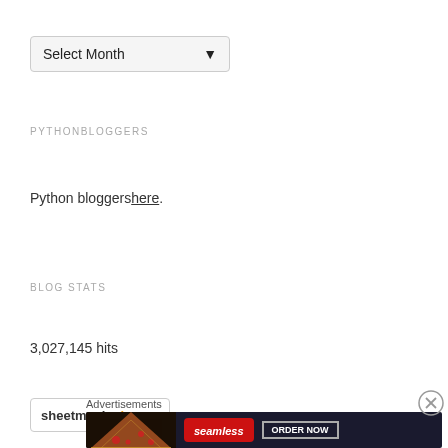[Figure (screenshot): Dropdown selector showing 'Select Month' with a chevron arrow]
PYTHONBLOGGERS
Python bloggers here.
BLOG STATS
3,027,145 hits
[Figure (logo): sheetmusicplus logo in a rounded box]
Advertisements
[Figure (infographic): Seamless food delivery advertisement banner with pizza image, Seamless red badge, and ORDER NOW button on dark background]